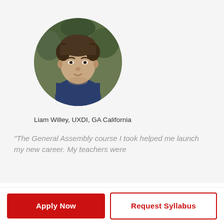[Figure (photo): Circular profile photo of a young man in a dark blue shirt, with greenery in the background]
Liam Willey, UXDI, GA California
“The General Assembly course I took helped me launch my new career. My teachers were
Apply Now
Request Syllabus